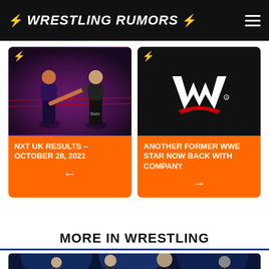⚡ WRESTLING RUMORS ⚡
[Figure (photo): Two wrestlers in a ring, dark purple/pink lighting, one delivering a kick]
NXT UK RESULTS – OCTOBER 28, 2021
[Figure (logo): WWE logo — white W with red swoosh on black background]
ANOTHER FORMER WWE STAR NOW BACK WITH COMPANY
MORE IN WRESTLING
[Figure (photo): Group of wrestlers on stage under blue lighting]